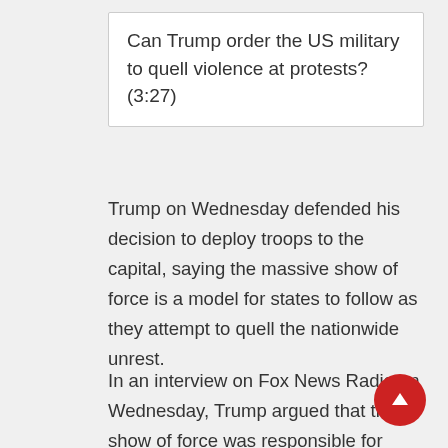[Figure (screenshot): Video thumbnail box with text: Can Trump order the US military to quell violence at protests? (3:27)]
Trump on Wednesday defended his decision to deploy troops to the capital, saying the massive show of force is a model for states to follow as they attempt to quell the nationwide unrest.
In an interview on Fox News Radio on Wednesday, Trump argued that the show of force was responsible for protests in Washington, DC and other cities turning more calm in recent days, and he repeated his criticism of governors who have not